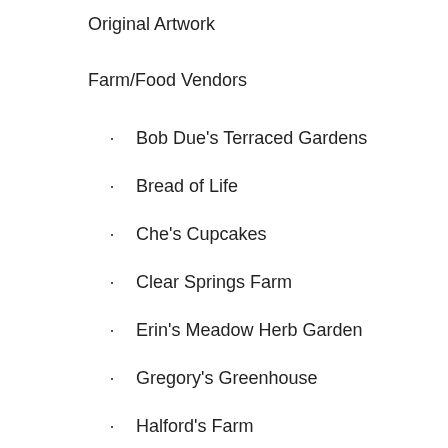Original Artwork
Farm/Food Vendors
Bob Due's Terraced Gardens
Bread of Life
Che's Cupcakes
Clear Springs Farm
Erin's Meadow Herb Garden
Gregory's Greenhouse
Halford's Farm
Mitchell Family Farm
Savory & Sweet Food Truck
Sherie's Garden Style Sales